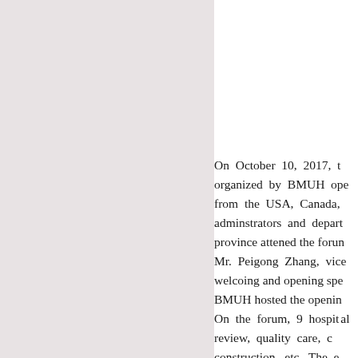[Figure (photo): Left half of page showing a light gray/beige background panel, likely part of an image or decorative element.]
On October 10, 2017, the forum organized by BMUH opened. Experts from the USA, Canada, adminstrators and department heads in province attened the forum. In addition, Mr. Peigong Zhang, vice welcoing and opening speech. BMUH hosted the opening. On the forum, 9 hospital leaders review, quality care, construction, etc. The sympathetic response am listeners during the questi